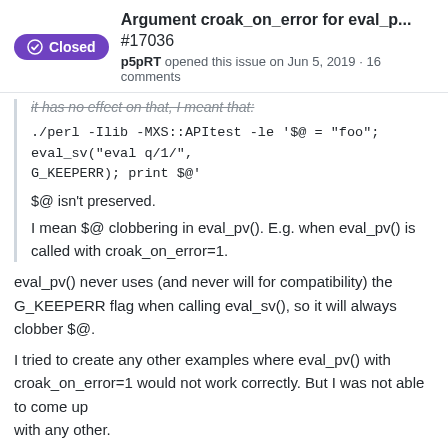Argument croak_on_error for eval_p... #17036
p5pRT opened this issue on Jun 5, 2019 · 16 comments
it has no effect on that, I meant that:
./perl -Ilib -MXS::APItest -le '$@ = "foo";
eval_sv("eval q/1/",
G_KEEPERR); print $@'
$@ isn't preserved.
I mean $@ clobbering in eval_pv(). E.g. when eval_pv() is called with croak_on_error=1.
eval_pv() never uses (and never will for compatibility) the G_KEEPERR flag when calling eval_sv(), so it will always clobber $@.
I tried to create any other examples where eval_pv() with croak_on_error=1 would not work correctly. But I was not able to come up with any other.